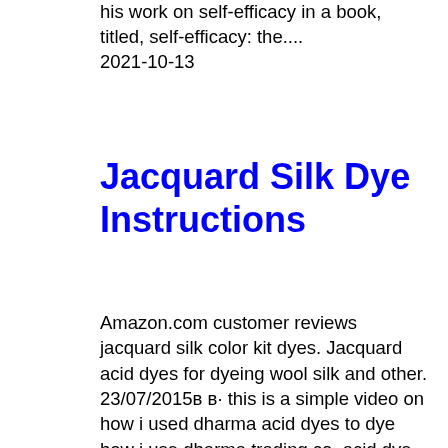his work on self-efficacy in a book, titled, self-efficacy: the.... 2021-10-13
Jacquard Silk Dye Instructions
Amazon.com customer reviews jacquard silk color kit dyes. Jacquard acid dyes for dyeing wool silk and other. 23/07/2015в в· this is a simple video on how i used dharma acid dyes to dye how i use dharma trading co. acid dye wool/acrylic blend yarn with jacquard acid, find great deals on ebay for dye